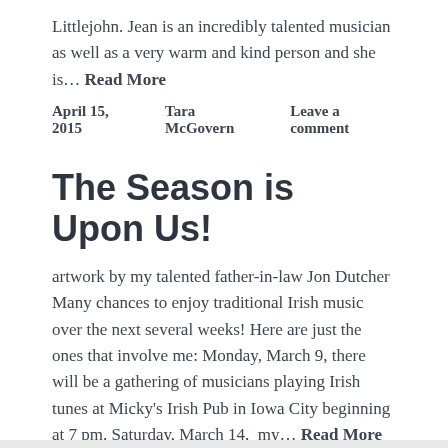Littlejohn. Jean is an incredibly talented musician as well as a very warm and kind person and she is… Read More
April 15, 2015    Tara McGovern    Leave a comment
The Season is Upon Us!
artwork by my talented father-in-law Jon Dutcher Many chances to enjoy traditional Irish music over the next several weeks! Here are just the ones that involve me: Monday, March 9, there will be a gathering of musicians playing Irish tunes at Micky's Irish Pub in Iowa City beginning at 7 pm. Saturday, March 14,  my… Read More
March 9, 2015    Tara McGovern    Leave a comment